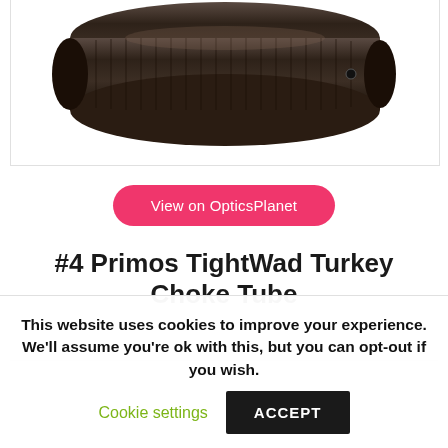[Figure (photo): Partial product photo of a choke tube (dark metal cylindrical firearm accessory) visible at the top of the page, cropped]
View on OpticsPlanet
#4 Primos TightWad Turkey Choke Tube
This website uses cookies to improve your experience. We'll assume you're ok with this, but you can opt-out if you wish.
Cookie settings
ACCEPT